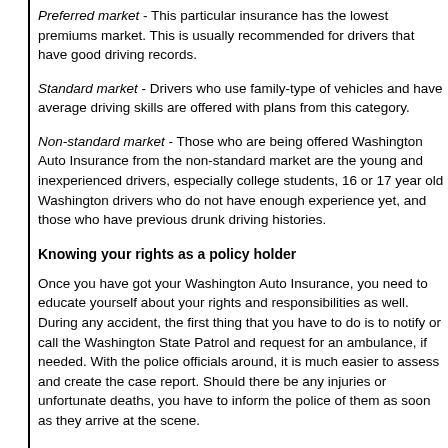Preferred market - This particular insurance has the lowest premiums market. This is usually recommended for drivers that have good driving records.
Standard market - Drivers who use family-type of vehicles and have average driving skills are offered with plans from this category.
Non-standard market - Those who are being offered Washington Auto Insurance from the non-standard market are the young and inexperienced drivers, especially college students, 16 or 17 year old Washington drivers who do not have enough experience yet, and those who have previous drunk driving histories.
Knowing your rights as a policy holder
Once you have got your Washington Auto Insurance, you need to educate yourself about your rights and responsibilities as well. During any accident, the first thing that you have to do is to notify or call the Washington State Patrol and request for an ambulance, if needed. With the police officials around, it is much easier to assess and create the case report. Should there be any injuries or unfortunate deaths, you have to inform the police of them as soon as they arrive at the scene.
After the accident, policy holders are required to promptly report the event to their insurance company and provide all the details required by them. Once you have filed any claim, you should wait for 30 days for the company to investigate on the particulars of the claim. It is the responsibility of the